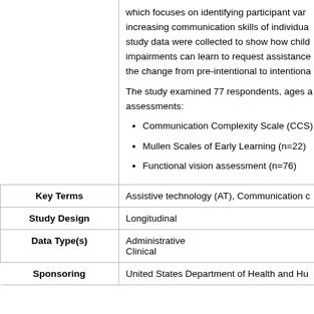|  |  |
| --- | --- |
|  | which focuses on identifying participant var... increasing communication skills of individua... study data were collected to show how chil... impairments can learn to request assistance... the change from pre-intentional to intentiona...

The study examined 77 respondents, ages ... assessments:
• Communication Complexity Scale (CCS)
• Mullen Scales of Early Learning (n=22)
• Functional vision assessment (n=76) |
| Key Terms | Assistive technology (AT), Communication c... |
| Study Design | Longitudinal |
| Data Type(s) | Administrative
Clinical |
| Sponsoring | United States Department of Health and Hu... |